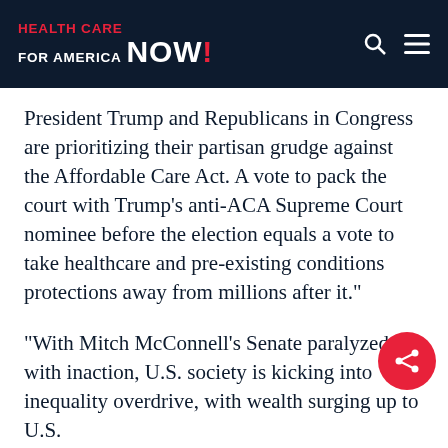HEALTH CARE FOR AMERICA NOW!
President Trump and Republicans in Congress are prioritizing their partisan grudge against the Affordable Care Act. A vote to pack the court with Trump’s anti-ACA Supreme Court nominee before the election equals a vote to take healthcare and pre-existing conditions protections away from millions after it.”
“With Mitch McConnell’s Senate paralyzed with inaction, U.S. society is kicking into inequality overdrive, with wealth surging up to U.S.